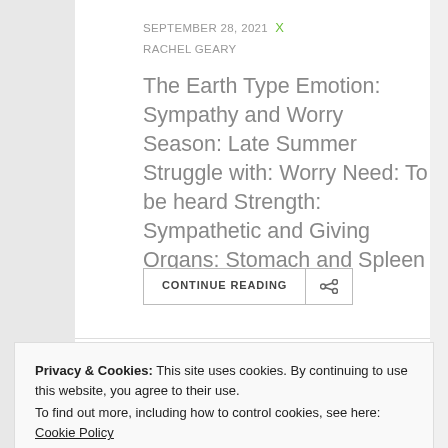SEPTEMBER 28, 2021  X
RACHEL GEARY
The Earth Type Emotion: Sympathy and Worry Season: Late Summer Struggle with: Worry Need: To be heard Strength: Sympathetic and Giving Organs: Stomach and Spleen The Earth Element ...
CONTINUE READING
Privacy & Cookies: This site uses cookies. By continuing to use this website, you agree to their use.
To find out more, including how to control cookies, see here: Cookie Policy
Close and accept